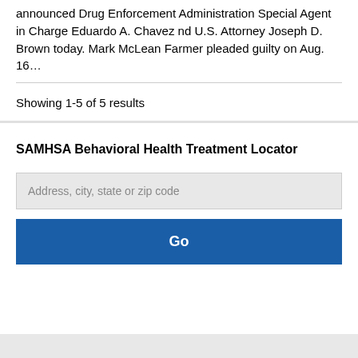announced Drug Enforcement Administration Special Agent in Charge Eduardo A. Chavez nd U.S. Attorney Joseph D. Brown today. Mark McLean Farmer pleaded guilty on Aug. 16…
Showing 1-5 of 5 results
SAMHSA Behavioral Health Treatment Locator
Address, city, state or zip code
Go